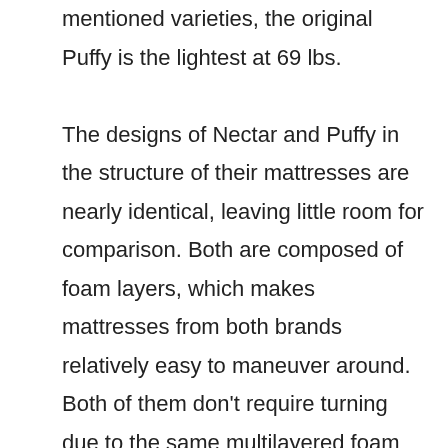mentioned varieties, the original Puffy is the lightest at 69 lbs.

The designs of Nectar and Puffy in the structure of their mattresses are nearly identical, leaving little room for comparison. Both are composed of foam layers, which makes mattresses from both brands relatively easy to maneuver around. Both of them don't require turning due to the same multilayered foam structure. This means that customers won't have to worry about moving a large mattress after it is laid on top of a mattress. It is safe to say that size and weight will not be a consideration when it comes to choosing between these two brands.